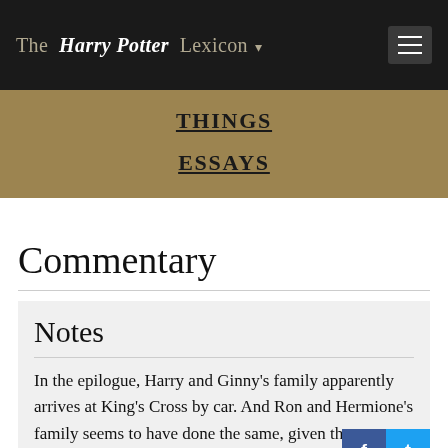The Harry Potter Lexicon
THINGS
ESSAYS
Commentary
Notes
In the epilogue, Harry and Ginny's family apparently arrives at King's Cross by car. And Ron and Hermione's family seems to have done the same, given the discussion of Ro...